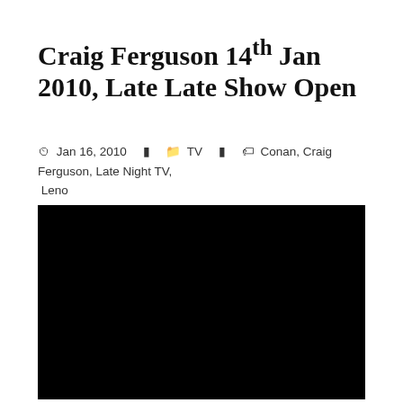Craig Ferguson 14th Jan 2010, Late Late Show Open
Jan 16, 2010   TV   Conan, Craig Ferguson, Late Night TV, Leno
[Figure (other): Black video embed placeholder rectangle]